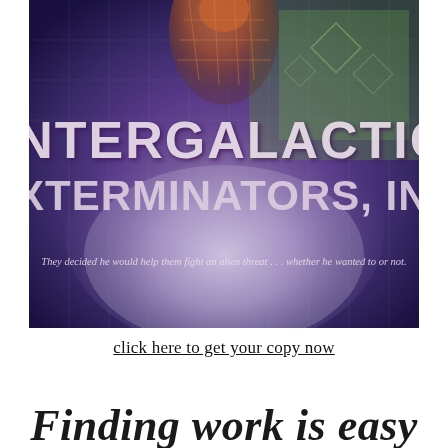[Figure (illustration): Book cover for 'Intergalactic Exterminators, Inc' showing a figure at the top against a sci-fi background with purple and green hues, a large planet/moon glow in the center, large stylized white/light text reading 'INTERGALACTIC EXTERMINATORS, INC', and a subtitle: 'They decided he would help them fight an alien threat... whether he wanted to or not.']
click here to get your copy now
Finding work is easy...